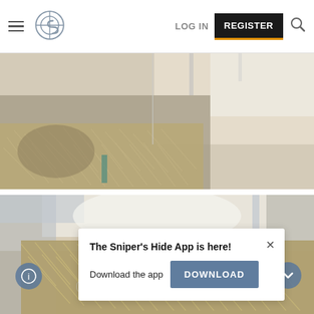LOG IN  REGISTER
[Figure (photo): Top photo: person in ghillie suit camouflage laying against a surface, tan and straw-colored material covering them, viewed from outside a vehicle.]
[Figure (photo): Bottom photo: person in ghillie suit camouflage laying on a surface, tan fibrous material, photobucket watermark visible, close-up view.]
The Sniper's Hide App is here!
Download the app  DOWNLOAD